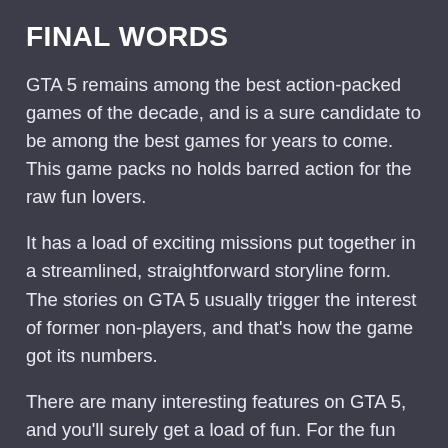FINAL WORDS
GTA 5 remains among the best action-packed games of the decade, and is a sure candidate to be among the best games for years to come. This game packs no holds barred action for the raw fun lovers.
It has a load of exciting missions put together in a streamlined, straightforward storyline form. The stories on GTA 5 usually trigger the interest of former non-players, and that's how the game got its numbers.
There are many interesting features on GTA 5, and you'll surely get a load of fun. For the fun you seek, you'd have to get access to some useful tips from